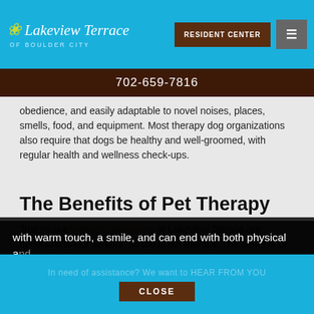Lakeview Terrace of Boulder City | RESIDENT CENTER | 702-659-7816
obedience, and easily adaptable to novel noises, places, smells, food, and equipment. Most therapy dog organizations also require that dogs be healthy and well-groomed, with regular health and wellness check-ups.
The Benefits of Pet Therapy
Just as our Wellness programs at Lakeview Terrace are beneficial to our seniors, so too is pet therapy. The benefits of pet therapy start with warm touch, a smile, and can end with both physical and emotional benefits for the senior.  The physical benefits are many, including reduced anxiety, improved mobility and more. The emotional benefits start with interaction, reduced isolation, and eventually a feeling of being loved.
This site uses cookies. See our Privacy Policy to learn more.
Okay, Got it
CLOSE